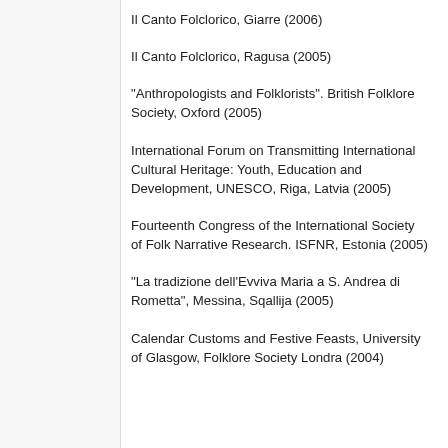Il Canto Folclorico, Giarre (2006)
Il Canto Folclorico, Ragusa (2005)
“Anthropologists and Folklorists”. British Folklore Society, Oxford (2005)
International Forum on Transmitting International Cultural Heritage: Youth, Education and Development, UNESCO, Riga, Latvia (2005)
Fourteenth Congress of the International Society of Folk Narrative Research. ISFNR, Estonia (2005)
“La tradizione dell’Evviva Maria a S. Andrea di Rometta”, Messina, Sqallija (2005)
Calendar Customs and Festive Feasts, University of Glasgow, Folklore Society Londra (2004)